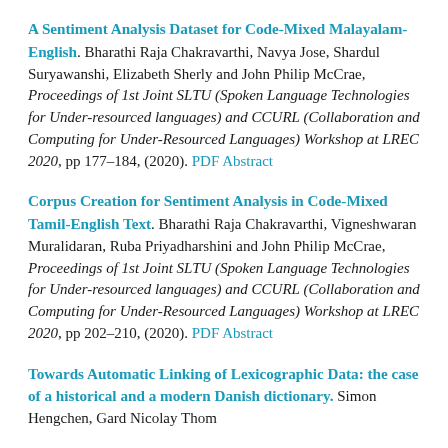A Sentiment Analysis Dataset for Code-Mixed Malayalam-English. Bharathi Raja Chakravarthi, Navya Jose, Shardul Suryawanshi, Elizabeth Sherly and John Philip McCrae, Proceedings of 1st Joint SLTU (Spoken Language Technologies for Under-resourced languages) and CCURL (Collaboration and Computing for Under-Resourced Languages) Workshop at LREC 2020, pp 177-184, (2020). PDF Abstract
Corpus Creation for Sentiment Analysis in Code-Mixed Tamil-English Text. Bharathi Raja Chakravarthi, Vigneshwaran Muralidaran, Ruba Priyadharshini and John Philip McCrae, Proceedings of 1st Joint SLTU (Spoken Language Technologies for Under-resourced languages) and CCURL (Collaboration and Computing for Under-Resourced Languages) Workshop at LREC 2020, pp 202-210, (2020). PDF Abstract
Towards Automatic Linking of Lexicographic Data: the case of a historical and a modern Danish dictionary. Simon Hengchen, Gard Nicolay Thom...